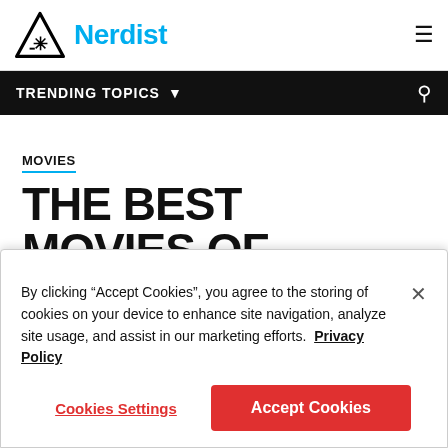Nerdist
TRENDING TOPICS
MOVIES
THE BEST MOVIES OF SUNDANCE 2018
By clicking “Accept Cookies”, you agree to the storing of cookies on your device to enhance site navigation, analyze site usage, and assist in our marketing efforts. Privacy Policy
Cookies Settings | Accept Cookies